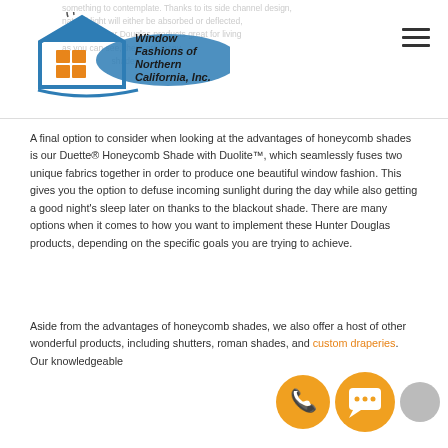[Figure (logo): Window Fashions of Northern California, Inc. logo with house icon and orange/teal colors]
A final option to consider when looking at the advantages of honeycomb shades is our Duette® Honeycomb Shade with Duolite™, which seamlessly fuses two unique fabrics together in order to produce one beautiful window fashion. This gives you the option to defuse incoming sunlight during the day while also getting a good night's sleep later on thanks to the blackout shade. There are many options when it comes to how you want to implement these Hunter Douglas products, depending on the specific goals you are trying to achieve.
Aside from the advantages of honeycomb shades, we also offer a host of other wonderful products, including shutters, roman shades, and custom draperies. Our knowledgeable